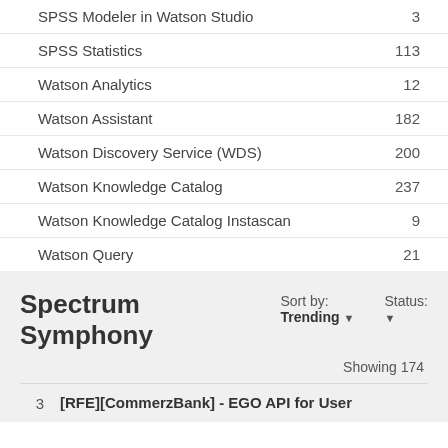SPSS Modeler in Watson Studio  3
SPSS Statistics  113
Watson Analytics  12
Watson Assistant  182
Watson Discovery Service (WDS)  200
Watson Knowledge Catalog  237
Watson Knowledge Catalog Instascan  9
Watson Query  21
Spectrum Symphony
Sort by: Trending ▼   Status: ▼
Showing 174
3   [RFE][CommerzBank] - EGO API for User